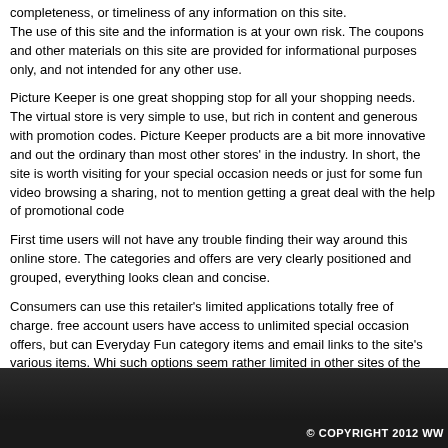completeness, or timeliness of any information on this site. The use of this site and the information is at your own risk. The coupons and other materials on this site are provided for informational purposes only, and not intended for any other use.
Picture Keeper is one great shopping stop for all your shopping needs. The virtual store is very simple to use, but rich in content and generous with promotion codes. Picture Keeper products are a bit more innovative and out the ordinary than most other stores' in the industry. In short, the site is worth visiting for your special occasion needs or just for some fun video browsing and sharing, not to mention getting a great deal with the help of promotional codes.
First time users will not have any trouble finding their way around this online store. The categories and offers are very clearly positioned and grouped, everything looks clean and concise.
Consumers can use this retailer's limited applications totally free of charge. free account users have access to unlimited special occasion offers, but can Everyday Fun category items and email links to the site's various items. Whi such options seem rather limited in other sites of the same category, they wo for personal review of site products and information.
Picture Keeper has offered plenty of opportunities of saving with promotional codes. It makes great financial sense to save usings coupons and special discounts like "buy one get one free", to get a good deal.
© COPYRIGHT 2012 WW